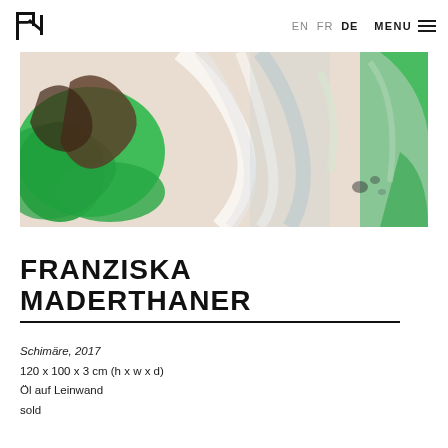EN FR DE MENU
[Figure (photo): Abstract painting with swirling greens, whites, and browns — an oil painting on canvas, photographed close-up, showing dynamic brush strokes.]
FRANZISKA MADERTHANER
Schimäre, 2017
120 x 100 x 3 cm (h x w x d)
Öl auf Leinwand
sold